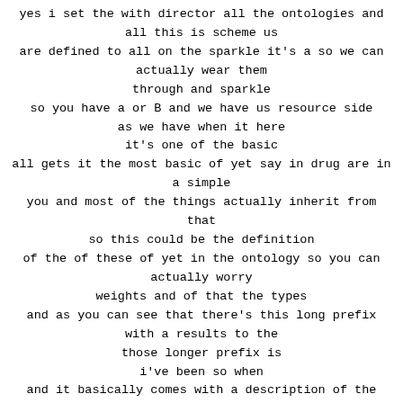yes i set the with director all the ontologies and all this is scheme us are defined to all on the sparkle it's a so we can actually wear them through and sparkle so you have a or B and we have us resource side as we have when it here it's one of the basic all gets it the most basic of yet say in drug are in a simple you and most of the things actually inherit from that so this could be the definition of the of these of yet in the ontology so you can actually worry weights and of that the types and as you can see that there's this long prefix with a results to the those longer prefix is i've been so when and it basically comes with a description of the of the object itself and and a few more i'd maybe the that the may need to belongs to and i would say that be this or all that information it's actually defined in the ontology so you can actually get to worry